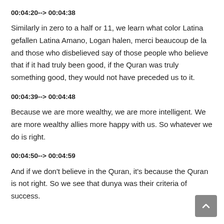00:04:20--> 00:04:38
Similarly in zero to a half or 11, we learn what color Latina gefallen Latina Amano, Logan halen, merci beaucoup de la and those who disbelieved say of those people who believe that if it had truly been good, if the Quran was truly something good, they would not have preceded us to it.
00:04:39--> 00:04:48
Because we are more wealthy, we are more intelligent. We are more wealthy allies more happy with us. So whatever we do is right.
00:04:50--> 00:04:59
And if we don't believe in the Quran, it's because the Quran is not right. So we see that dunya was their criteria of success.